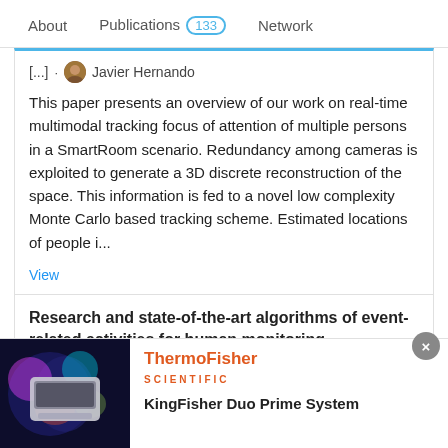About | Publications 133 | Network
[...] · Javier Hernando
This paper presents an overview of our work on real-time multimodal tracking focus of attention of multiple persons in a SmartRoom scenario. Redundancy among cameras is exploited to generate a 3D discrete reconstruction of the space. This information is fed to a novel low complexity Monte Carlo based tracking scheme. Estimated locations of people i...
View
Research and state-of-the-art algorithms of event-related activities for human monitoring
Article
Mar 2008
Advertisement
[Figure (photo): ThermoFisher Scientific advertisement showing a lab instrument (KingFisher Duo Prime System) with colorful background]
KingFisher Duo Prime System